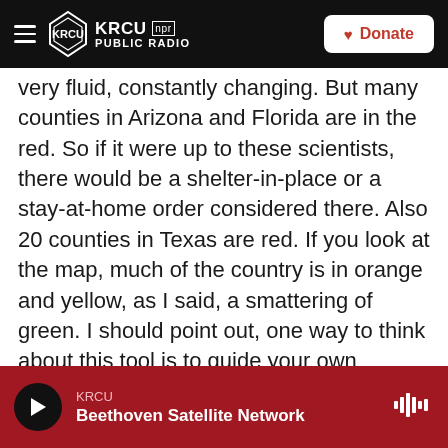KRCU NPR PUBLIC RADIO | Donate
very fluid, constantly changing. But many counties in Arizona and Florida are in the red. So if it were up to these scientists, there would be a shelter-in-place or a stay-at-home order considered there. Also 20 counties in Texas are red. If you look at the map, much of the country is in orange and yellow, as I said, a smattering of green. I should point out, one way to think about this tool is to guide your own decision-making. If you wanted to visit relatives and you use this tool, you see the county they live in is at a red alert, you may want to reconsider your plans.
KRCU | Beethoven Satellite Network